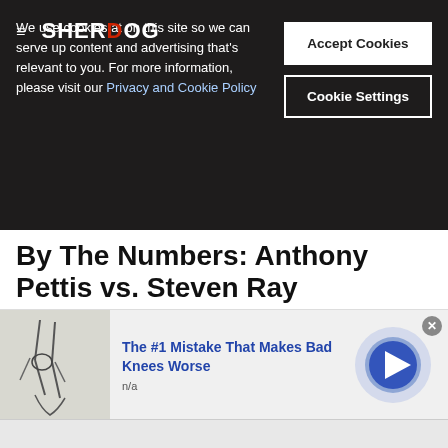SHERDOG
We use cookies at on this site so we can serve up content and advertising that's relevant to you. For more information, please visit our Privacy and Cookie Policy
By The Numbers: Anthony Pettis vs. Steven Ray
The accomplished veterans will rematch one another in the 2022 Professional Fighters League semifinals.
PROFESSIONAL FIGHTERS LEAGUE  BRIAN KNAPP  AUG 01, 2022
COMMENTS
[Figure (illustration): Advertisement showing leg/knee anatomy illustration with text: The #1 Mistake That Makes Bad Knees Worse, n/a, with a play button]